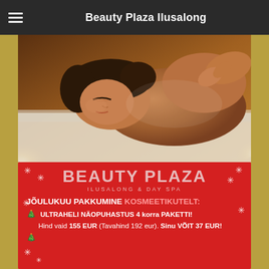Beauty Plaza Ilusalong
[Figure (photo): Woman receiving a back massage, lying face down on a massage table with candles in the warm-toned background]
[Figure (infographic): Red promotional banner for Beauty Plaza Ilusalong & Day Spa with Christmas decorations and snowflakes. Shows: BEAUTY PLAZA, ILUSALONG & DAY SPA, JÕULUKUU PAKKUMINE KOSMEETIKUTELT:, ULTRAHELI NÄOPUHASTUS 4 korra PAKETTI!, Hind vaid 155 EUR (Tavahind 192 eur). Sinu VÕIT 37 EUR!]
JÕULUKUU PAKKUMINE KOSMEETIKUTELT:
🎄 ULTRAHELI NÄOPUHASTUS 4 korra PAKETTI!
Hind vaid 155 EUR (Tavahind 192 eur). Sinu VÕIT 37 EUR!